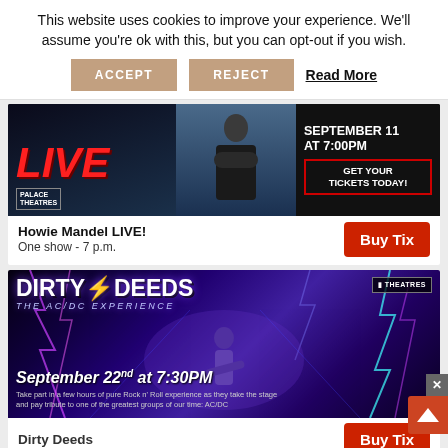This website uses cookies to improve your experience. We'll assume you're ok with this, but you can opt-out if you wish.
ACCEPT  REJECT  Read More
[Figure (photo): Howie Mandel LIVE! promotional banner for Palace Theatres. Shows 'LIVE' in red neon text on left, a man in black suit with arms crossed in center, and 'SEPTEMBER 11 AT 7:00PM' with 'GET YOUR TICKETS TODAY!' button on right against dark background.]
Howie Mandel LIVE!
One show - 7 p.m.
Buy Tix
[Figure (photo): Dirty Deeds - The AC/DC Experience promotional banner. Dark purple/blue background with lightning bolts, guitarist silhouette center, 'DIRTY DEEDS' in large white text, 'THE AC/DC EXPERIENCE' subtitle, 'September 22nd at 7:30PM' date, and descriptive text at bottom. Palace Theatres logo top right.]
Dirty Deeds
Buy Tix